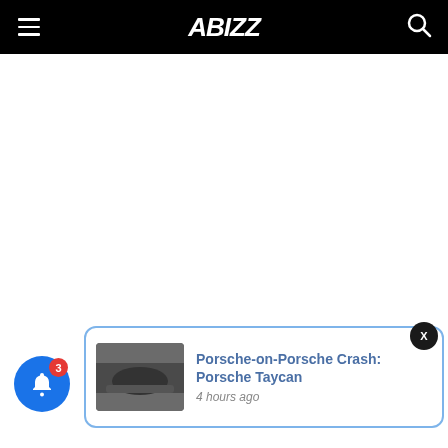ABIZZ
[Figure (screenshot): Notification popup showing a Porsche-on-Porsche crash article with thumbnail image]
Porsche-on-Porsche Crash: Porsche Taycan
4 hours ago